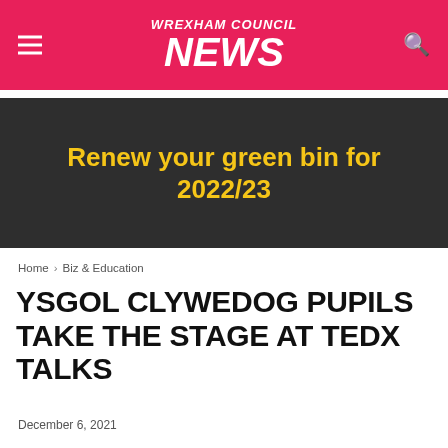WREXHAM COUNCIL NEWS
[Figure (other): Dark banner with yellow bold text reading 'Renew your green bin for 2022/23']
Home > Biz & Education
YSGOL CLYWEDOG PUPILS TAKE THE STAGE AT TEDX TALKS
December 6, 2021